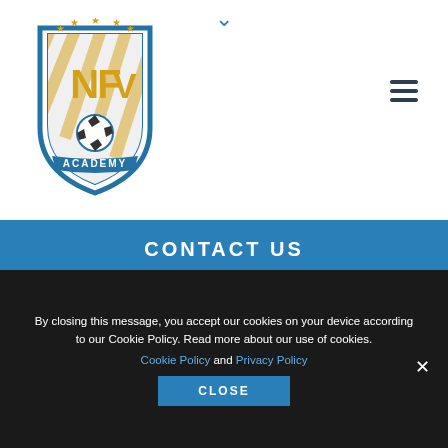[Figure (logo): NF Academy football/soccer academy logo — shield shape with blue border, gold stars, 'NFV' letters in gold on white diagonal stripes, soccer ball at bottom, 'ACADEMY' banner]
CONTACT US
SEND REQUEST
Phone: +47 23 65 24 53
Open: 10.00 - 14.00 (GMT)
By closing this message, you accept our cookies on your device according to our Cookie Policy. Read more about our use of cookies.
Cookie Policy and Privacy Policy
CLOSE